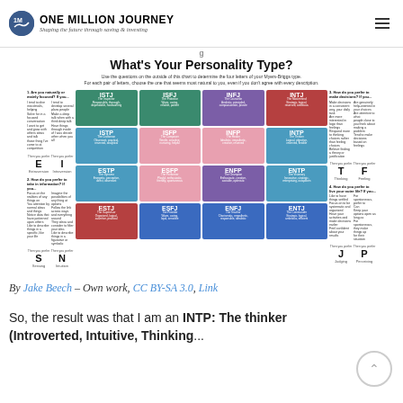ONE MILLION JOURNEY — Shaping the future through saving & investing
[Figure (infographic): Myers-Briggs Type Indicator personality chart titled 'What's Your Personality Type?' showing a 4x4 grid of MBTI types (ISTJ, ISFJ, INFJ, INTJ, ISTP, ISFP, INFP, INTP, ESTP, ESFP, ENFP, ENTP, ESTJ, ESFJ, ENFJ, ENTJ) color-coded by temperament, with side panels showing the four dichotomies (E/I, S/N, T/F, J/P) and descriptive text for each preference.]
By Jake Beech – Own work, CC BY-SA 3.0, Link
So, the result was that I am an INTP: The thinker (Introverted, Intuitive, Thinking...